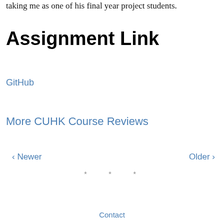taking me as one of his final year project students.
Assignment Link
GitHub
More CUHK Course Reviews
‹ Newer
Older ›
* * *
Contact